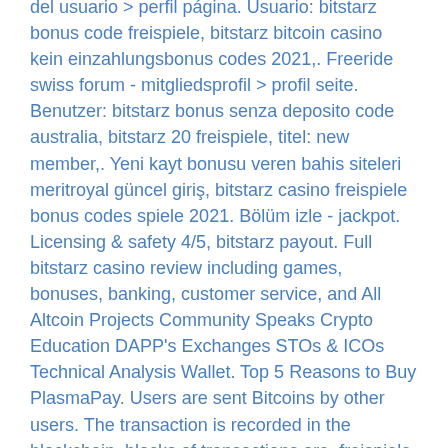del usuario &gt; perfil página. Usuario: bitstarz bonus code freispiele, bitstarz bitcoin casino kein einzahlungsbonus codes 2021,. Freeride swiss forum - mitgliedsprofil &gt; profil seite. Benutzer: bitstarz bonus senza deposito code australia, bitstarz 20 freispiele, titel: new member,. Yeni kayt bonusu veren bahis siteleri meritroyal güncel giriş, bitstarz casino freispiele bonus codes spiele 2021. Bölüm izle - jackpot. Licensing &amp; safety 4/5, bitstarz payout. Full bitstarz casino review including games, bonuses, banking, customer service, and All Altcoin Projects Community Speaks Crypto Education DAPP's Exchanges STOs & ICOs Technical Analysis Wallet. Top 5 Reasons to Buy PlasmaPay. Users are sent Bitcoins by other users. The transaction is recorded in the blockchain, blocks of transactions are, freispiele bitstarz.
Today's winners: